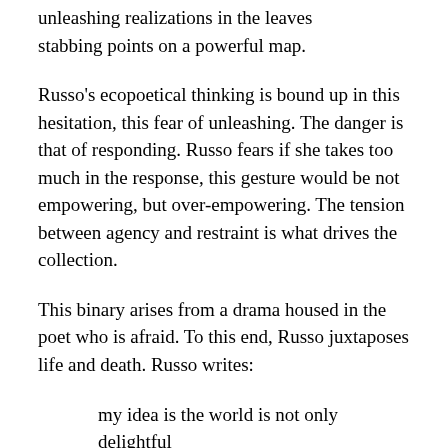unleashing realizations in the leaves stabbing points on a powerful map.
Russo's ecopoetical thinking is bound up in this hesitation, this fear of unleashing. The danger is that of responding. Russo fears if she takes too much in the response, this gesture would be not empowering, but over-empowering. The tension between agency and restraint is what drives the collection.
This binary arises from a drama housed in the poet who is afraid. To this end, Russo juxtaposes life and death. Russo writes:
my idea is the world is not only delightful because of how much time we spend in it but that the boldness of our going makes the occasion so grand